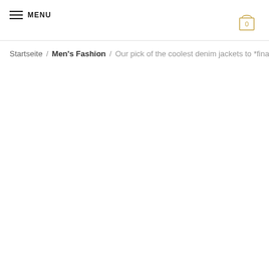MENU | 0
Startseite / Men's Fashion / Our pick of the coolest denim jackets to *finally* swap yo